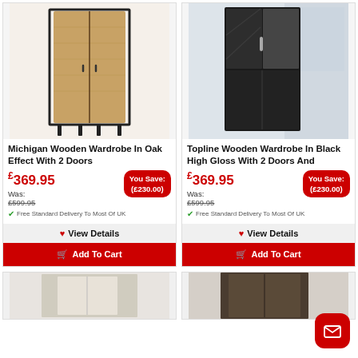[Figure (photo): Michigan Wooden Wardrobe in Oak Effect - tall wooden wardrobe with 2 doors in oak/brown wood effect with black metal frame legs]
[Figure (photo): Topline Wooden Wardrobe in Black High Gloss with 2 doors - tall dark/black high gloss wardrobe with mirror panel, near a window]
Michigan Wooden Wardrobe In Oak Effect With 2 Doors
Topline Wooden Wardrobe In Black High Gloss With 2 Doors And
£369.95
Was:
£599.95
You Save: (£230.00)
Free Standard Delivery To Most Of UK
£369.95
Was:
£599.95
You Save: (£230.00)
Free Standard Delivery To Most Of UK
View Details
Add To Cart
View Details
Add To Cart
[Figure (photo): Bottom left product image - wardrobe with light/white finish]
[Figure (photo): Bottom right product image - dark wardrobe partial view]